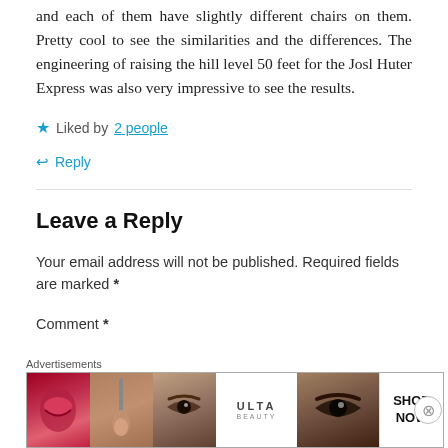and each of them have slightly different chairs on them. Pretty cool to see the similarities and the differences. The engineering of raising the hill level 50 feet for the Josl Huter Express was also very impressive to see the results.
★ Liked by 2 people
↩ Reply
Leave a Reply
Your email address will not be published. Required fields are marked *
Comment *
Advertisements
[Figure (illustration): Ulta Beauty advertisement banner showing beauty product imagery including lips, makeup brush, eyes, Ulta logo, and SHOP NOW text]